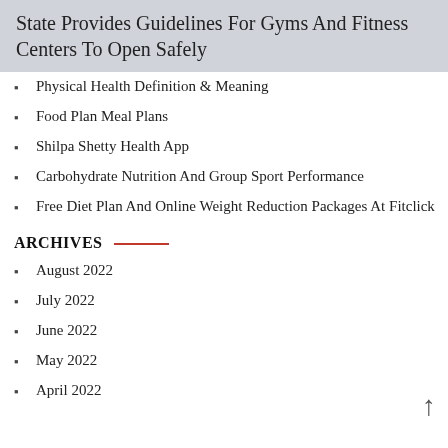State Provides Guidelines For Gyms And Fitness Centers To Open Safely
Physical Health Definition & Meaning
Food Plan Meal Plans
Shilpa Shetty Health App
Carbohydrate Nutrition And Group Sport Performance
Free Diet Plan And Online Weight Reduction Packages At Fitclick
ARCHIVES
August 2022
July 2022
June 2022
May 2022
April 2022